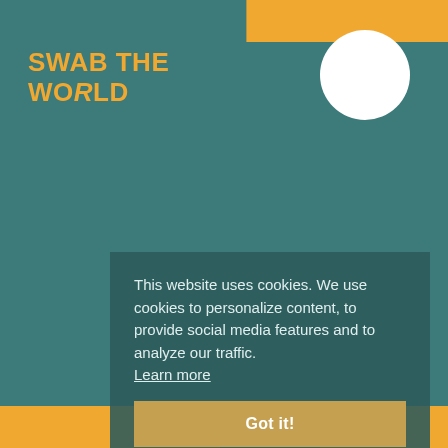[Figure (logo): Swab The World logo in orange text on teal background, top left. Decorative orange bar at top right, white circle top right, orange bar at bottom.]
SWAB THE WORLD
This website uses cookies. We use cookies to personalize content, to provide social media features and to analyze our traffic. Learn more
Got it!